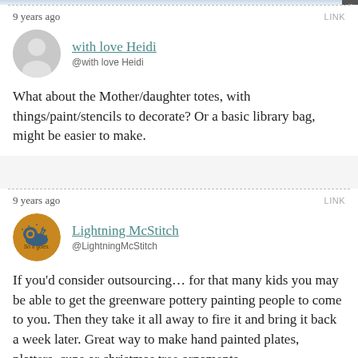9 years ago
LINK
with love Heidi @with love Heidi
What about the Mother/daughter totes, with things/paint/stencils to decorate? Or a basic library bag, might be easier to make.
9 years ago
LINK
Lightning McStitch @LightningMcStitch
If you'd consider outsourcing… for that many kids you may be able to get the greenware pottery painting people to come to you. Then they take it all away to fire it and bring it back a week later. Great way to make hand painted plates, platters, cups or christmas tree ornaments.